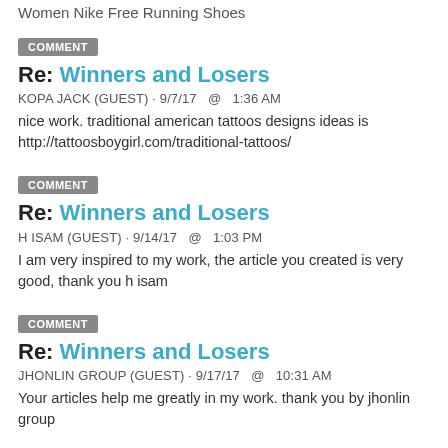Women Nike Free Running Shoes
COMMENT
Re: Winners and Losers
KOPA JACK (GUEST) · 9/7/17  @  1:36 AM
nice work. traditional american tattoos designs ideas is http://tattoosboygirl.com/traditional-tattoos/
COMMENT
Re: Winners and Losers
H ISAM (GUEST) · 9/14/17  @  1:03 PM
I am very inspired to my work, the article you created is very good, thank you h isam
COMMENT
Re: Winners and Losers
JHONLIN GROUP (GUEST) · 9/17/17  @  10:31 AM
Your articles help me greatly in my work. thank you by jhonlin group